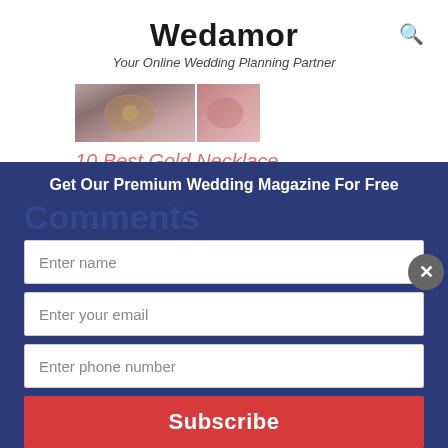Wedamor
Your Online Wedding Planning Partner
[Figure (photo): Thumbnail image of bridal jewelry/necklace designs]
10 Best Gold Necklace Designs for 2019 Weddings
January 7, 2019
In "Beauty & Makeup"
Get Our Premium Wedding Magazine For Free
Comments
Enter name
Enter your email
Enter phone number
Subscribe